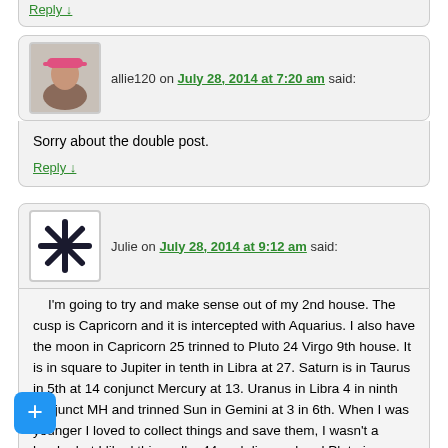Reply ↓
allie120 on July 28, 2014 at 7:20 am said:
Sorry about the double post.
Reply ↓
Julie on July 28, 2014 at 9:12 am said:
I'm going to try and make sense out of my 2nd house. The cusp is Capricorn and it is intercepted with Aquarius. I also have the moon in Capricorn 25 trinned to Pluto 24 Virgo 9th house. It is in square to Jupiter in tenth in Libra at 27. Saturn is in Taurus in 5th at 14 conjunct Mercury at 13. Uranus in Libra 4 in ninth conjunct MH and trinned Sun in Gemini at 3 in 6th. When I was younger I loved to collect things and save them, I wasn't a horder but I liked things. I'm 44 and divorced and Pluto in my 1st has wrecked havoc on my life. Now I take things I own and sell them on Ebay to make money. I have tried to learned to detach(uranus) myself from the item. I have learned this because of my lack of money situation and time. I don't get angry about how much I make or the loss of money, its all a gain to me. I have rationalized this in my head. When I am unsuccessful at selling the item, or just